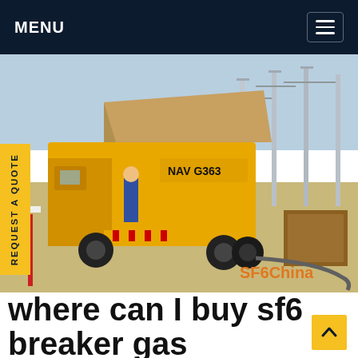MENU
[Figure (photo): Yellow utility truck with open side panel parked at an electrical substation with high-voltage transmission towers and equipment in background. Text 'NAV G363' visible on truck. Watermark 'SF6China' in orange at bottom right.]
where can I buy sf6 breaker gas pressure lau ar